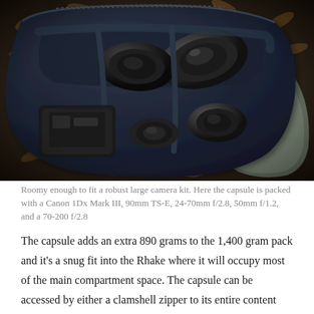[Figure (photo): Overhead view of an open camera bag/capsule on an outdoor surface with autumn leaves. The bag contains multiple camera lenses and a camera body, including large telephoto lenses, organized with padded dividers. The bag is dark navy/black with a clamshell opening.]
Roomy enough to fit a robust large camera kit. Here the capsule is packed with a Canon 1Dx Mark III, 90mm TS-E, 24-70mm f/2.8, 50mm f/1.2, and a 70-200 f/2.8
The capsule adds an extra 890 grams to the 1,400 gram pack and it's a snug fit into the Rhake where it will occupy most of the main compartment space. The capsule can be accessed by either a clamshell zipper to its entire content when out of the backpack, or through a top zipper